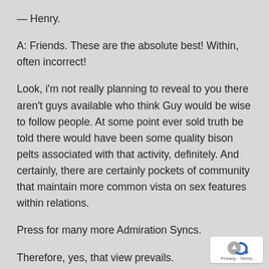— Henry.
A: Friends. These are the absolute best! Within, often incorrect!
Look, i'm not really planning to reveal to you there aren't guys available who think Guy would be wise to follow people. At some point ever sold truth be told there would have been some quality bison pelts associated with that activity, definitely. And certainly, there are certainly pockets of community that maintain more common vista on sex features within relations.
Press for many more Admiration Syncs.
Therefore, yes, that view prevails.
[Figure (logo): Privacy & Terms badge with a blue and gray icon]